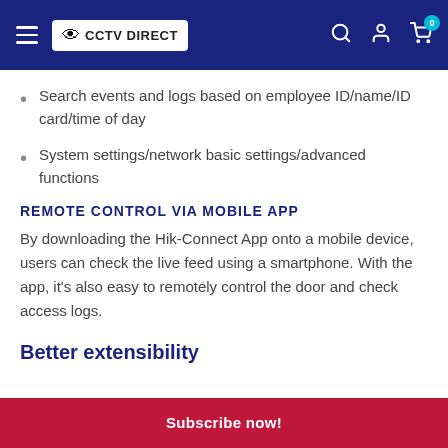[Figure (screenshot): CCTV Direct website header with hamburger menu, logo, search icon, user icon, and cart icon with badge showing 0]
Search events and logs based on employee ID/name/ID card/time of day
System settings/network basic settings/advanced functions
REMOTE CONTROL VIA MOBILE APP
By downloading the Hik-Connect App onto a mobile device, users can check the live feed using a smartphone. With the app, it's also easy to remotely control the door and check access logs.
Better extensibility
Subscribe now!